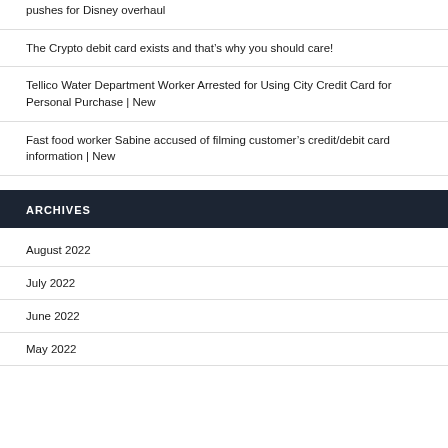pushes for Disney overhaul
The Crypto debit card exists and that’s why you should care!
Tellico Water Department Worker Arrested for Using City Credit Card for Personal Purchase | New
Fast food worker Sabine accused of filming customer’s credit/debit card information | New
ARCHIVES
August 2022
July 2022
June 2022
May 2022